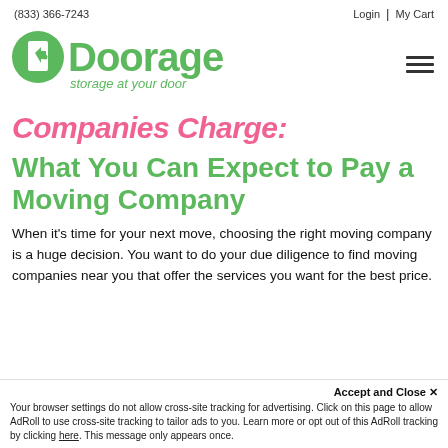(833) 366-7243   Login | My Cart
[Figure (logo): Doorage logo — green stylized text reading 'Doorage' with a door icon, subtitle: 'storage at your door']
Companies Charge:
What You Can Expect to Pay a Moving Company
When it's time for your next move, choosing the right moving company is a huge decision. You want to do your due diligence to find moving companies near you that offer the services you want for the best price.
Accept and Close ✕
Your browser settings do not allow cross-site tracking for advertising. Click on this page to allow AdRoll to use cross-site tracking to tailor ads to you. Learn more or opt out of this AdRoll tracking by clicking here. This message only appears once.
know how much you can expect to pay so you know